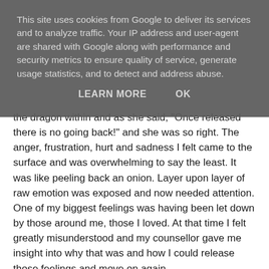This site uses cookies from Google to deliver its services and to analyze traffic. Your IP address and user-agent are shared with Google along with performance and security metrics to ensure quality of service, generate usage statistics, and to detect and address abuse.
LEARN MORE   OK
the dragon within and as she said, "Once released there is no going back!" and she was so right. The anger, frustration, hurt and sadness I felt came to the surface and was overwhelming to say the least. It was like peeling back an onion. Layer upon layer of raw emotion was exposed and now needed attention. One of my biggest feelings was having been let down by those around me, those I loved. At that time I felt greatly misunderstood and my counsellor gave me insight into why that was and how I could release those feelings and move on again.
I am a highly sensitive person which in my work as a Holistic Therapist is a good thing. I am very empathic and sense feelings, unease, emotions. My instincts serve me well but they can make functioning in the real world tough at times